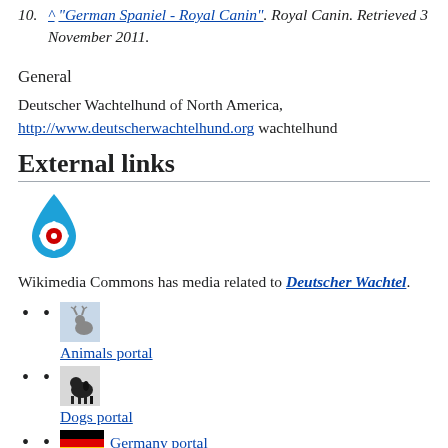^ "German Spaniel - Royal Canin". Royal Canin. Retrieved 3 November 2011.
General
Deutscher Wachtelhund of North America, http://www.deutscherwachtelhund.org wachtelhund
External links
[Figure (logo): Wikimedia Commons logo - blue drop shape with red and white circular emblem]
Wikimedia Commons has media related to Deutscher Wachtel.
Animals portal
Dogs portal
Germany portal
German Spaniel at Curlie